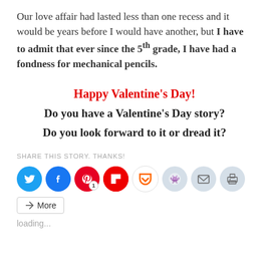Our love affair had lasted less than one recess and it would be years before I would have another, but I have to admit that ever since the 5th grade, I have had a fondness for mechanical pencils.
Happy Valentine's Day!
Do you have a Valentine's Day story?
Do you look forward to it or dread it?
SHARE THIS STORY. THANKS!
[Figure (infographic): Social media sharing icons: Twitter (blue), Facebook (blue), Pinterest (red with badge '1'), Flipboard (red/white), Pocket (orange/white), Reddit (light blue), Email (light grey), Print (light grey), and a More button]
loading...